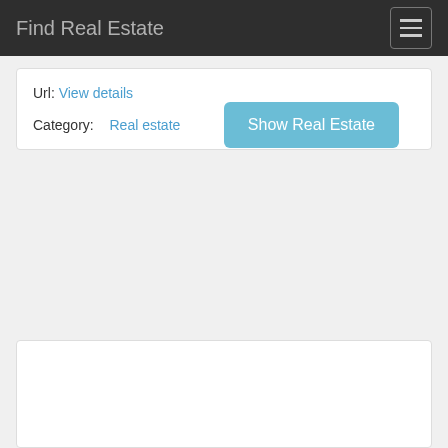Find Real Estate
Url: View details
Category: Real estate
Show Real Estate